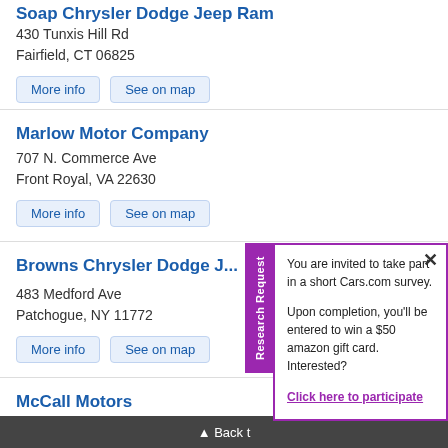Soap Chrysler Dodge Jeep Ram
430 Tunxis Hill Rd
Fairfield, CT 06825
Marlow Motor Company
707 N. Commerce Ave
Front Royal, VA 22630
Browns Chrysler Dodge J...
483 Medford Ave
Patchogue, NY 11772
McCall Motors
4914 Admiral Peary Hwy
Ebensburg, PA 15931
[Figure (screenshot): Research Request popup with purple border and tab. Text: 'You are invited to take part in a short Cars.com survey. Upon completion, you’ll be entered to win a $50 amazon gift card. Interested? Click here to participate']
Back t...